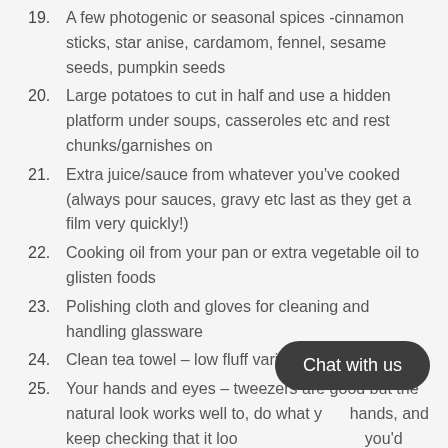19. A few photogenic or seasonal spices -cinnamon sticks, star anise, cardamom, fennel, sesame seeds, pumpkin seeds
20. Large potatoes to cut in half and use a hidden platform under soups, casseroles etc and rest chunks/garnishes on
21. Extra juice/sauce from whatever you've cooked (always pour sauces, gravy etc last as they get a film very quickly!)
22. Cooking oil from your pan or extra vegetable oil to glisten foods
23. Polishing cloth and gloves for cleaning and handling glassware
24. Clean tea towel – low fluff varieties!
25. Your hands and eyes – tweezers are good but the natural look works well to, do what you can with your hands, and keep checking that it looks like something you'd want to eat.